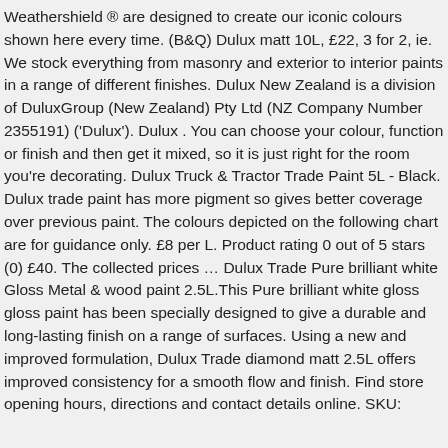Weathershield ® are designed to create our iconic colours shown here every time. (B&Q) Dulux matt 10L, £22, 3 for 2, ie. We stock everything from masonry and exterior to interior paints in a range of different finishes. Dulux New Zealand is a division of DuluxGroup (New Zealand) Pty Ltd (NZ Company Number 2355191) ('Dulux'). Dulux . You can choose your colour, function or finish and then get it mixed, so it is just right for the room you're decorating. Dulux Truck & Tractor Trade Paint 5L - Black. Dulux trade paint has more pigment so gives better coverage over previous paint. The colours depicted on the following chart are for guidance only. £8 per L. Product rating 0 out of 5 stars (0) £40. The collected prices … Dulux Trade Pure brilliant white Gloss Metal & wood paint 2.5L.This Pure brilliant white gloss gloss paint has been specially designed to give a durable and long-lasting finish on a range of surfaces. Using a new and improved formulation, Dulux Trade diamond matt 2.5L offers improved consistency for a smooth flow and finish. Find store opening hours, directions and contact details online. SKU: